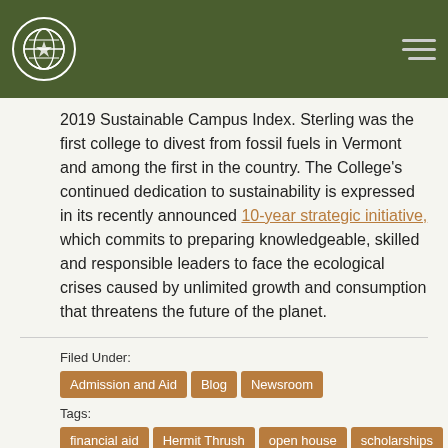Sterling College – Navigation header with logo and menu
2019 Sustainable Campus Index. Sterling was the first college to divest from fossil fuels in Vermont and among the first in the country. The College's continued dedication to sustainability is expressed in its recently announced 10-year strategic initiative, which commits to preparing knowledgeable, skilled and responsible leaders to face the ecological crises caused by unlimited growth and consumption that threatens the future of the planet.
Filed Under:
Admission and Aid
Blog
Newsroom
Tags:
financial aid
Hermit Thrush
open house
scholarships